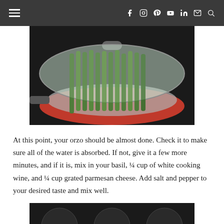Navigation bar with hamburger menu and social icons: Facebook, Instagram, Pinterest, YouTube, LinkedIn, Email, Search
[Figure (photo): Asparagus spears in a steamer basket with glass lid in a red-handled pan on a stovetop]
At this point, your orzo should be almost done. Check it to make sure all of the water is absorbed. If not, give it a few more minutes, and if it is, mix in your basil, ¼ cup of white cooking wine, and ¼ cup grated parmesan cheese. Add salt and pepper to your desired taste and mix well.
[Figure (photo): Bottom portion of another food photo, partially visible, showing dark round shapes]